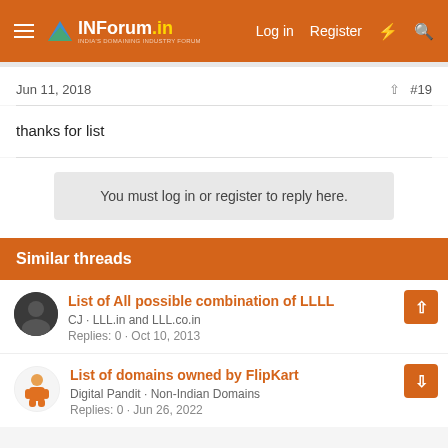INForum — Log in | Register
Jun 11, 2018  #19
thanks for list
You must log in or register to reply here.
Similar threads
List of All possible combination of LLLL
CJ · LLL.in and LLL.co.in
Replies: 0 · Oct 10, 2013
List of domains owned by FlipKart
Digital Pandit · Non-Indian Domains
Replies: 0 · Jun 26, 2022